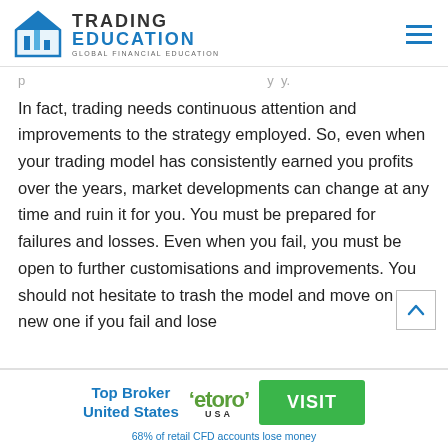Trading Education – Global Financial Education
In fact, trading needs continuous attention and improvements to the strategy employed. So, even when your trading model has consistently earned you profits over the years, market developments can change at any time and ruin it for you. You must be prepared for failures and losses. Even when you fail, you must be open to further customisations and improvements. You should not hesitate to trash the model and move on to a new one if you fail and lose
Top Broker United States
[Figure (logo): eToro USA logo]
VISIT
68% of retail CFD accounts lose money